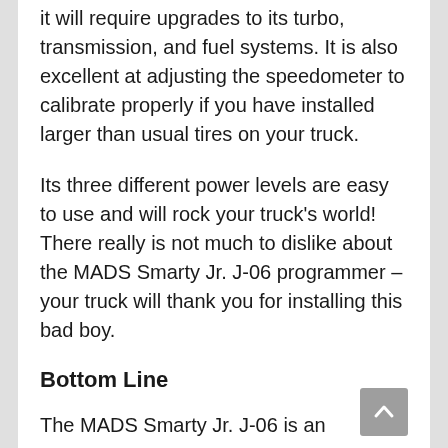it will require upgrades to its turbo, transmission, and fuel systems. It is also excellent at adjusting the speedometer to calibrate properly if you have installed larger than usual tires on your truck.
Its three different power levels are easy to use and will rock your truck's world! There really is not much to dislike about the MADS Smarty Jr. J-06 programmer – your truck will thank you for installing this bad boy.
Bottom Line
The MADS Smarty Jr. J-06 is an